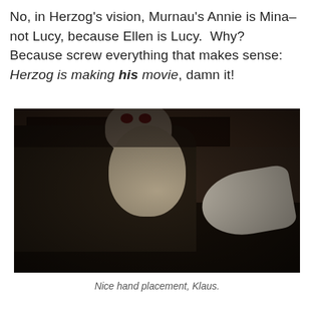No, in Herzog's vision, Murnau's Annie is Mina–not Lucy, because Ellen is Lucy.  Why?  Because screw everything that makes sense: Herzog is making his movie, damn it!
[Figure (photo): A movie still showing a pale bald vampire-like creature (Klaus Kinski as Nosferatu) leaning over a recumbent woman, in a dark gothic bedroom setting with bookshelves in the background.]
Nice hand placement, Klaus.